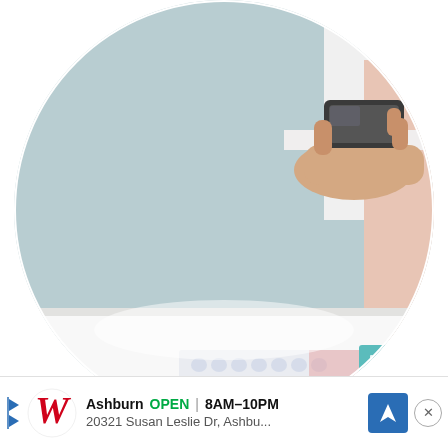[Figure (photo): Circular cropped photo of a person's hand holding a smartphone above a white desk surface, with a blue-gray wall in the background and what appears to be a medication blister pack or card on the desk below. The image is clipped in a circle shape. A teal/turquoise colored object is visible at the right edge of the desk item.]
Go Paperless
[Figure (infographic): Advertisement banner for Walgreens pharmacy. Shows Walgreens logo (stylized W in red), location 'Ashburn', status 'OPEN', hours '8AM-10PM', address '20321 Susan Leslie Dr, Ashbu...' with a blue navigation arrow icon and a close (X) button.]